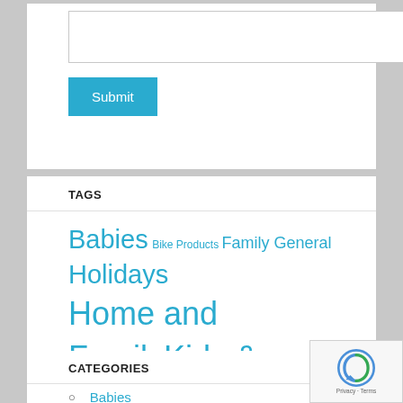[Figure (screenshot): Input text field (search or comment box)]
Submit
TAGS
Babies Bike Products Family General Holidays Home and Family Kids & Teens Parenting Parties
CATEGORIES
Babies
Bike Products
Family
General